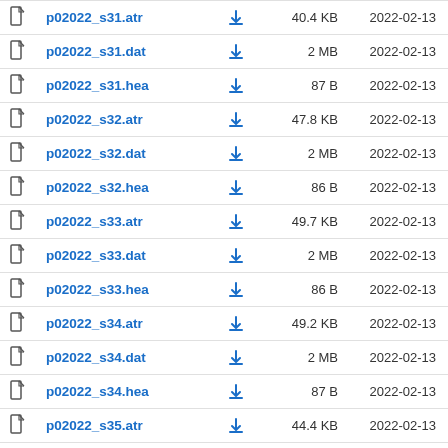p02022_s31.atr  40.4 KB  2022-02-13
p02022_s31.dat  2 MB  2022-02-13
p02022_s31.hea  87 B  2022-02-13
p02022_s32.atr  47.8 KB  2022-02-13
p02022_s32.dat  2 MB  2022-02-13
p02022_s32.hea  86 B  2022-02-13
p02022_s33.atr  49.7 KB  2022-02-13
p02022_s33.dat  2 MB  2022-02-13
p02022_s33.hea  86 B  2022-02-13
p02022_s34.atr  49.2 KB  2022-02-13
p02022_s34.dat  2 MB  2022-02-13
p02022_s34.hea  87 B  2022-02-13
p02022_s35.atr  44.4 KB  2022-02-13
p02022_s35.dat  2 MB  2022-02-13